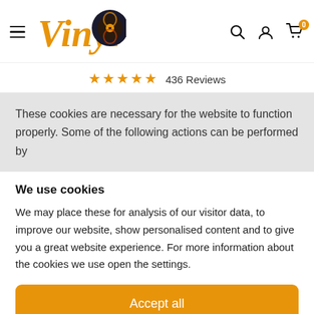Vinyl8 — hamburger menu, search, account, cart (0)
★★★★★ 436 Reviews
These cookies are necessary for the website to function properly. Some of the following actions can be performed by
We use cookies
We may place these for analysis of our visitor data, to improve our website, show personalised content and to give you a great website experience. For more information about the cookies we use open the settings.
Accept all
Deny
No, adjust